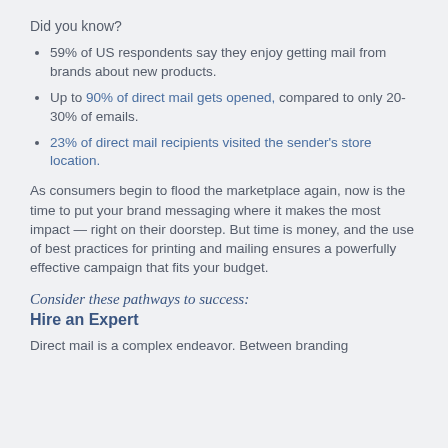Did you know?
59% of US respondents say they enjoy getting mail from brands about new products.
Up to 90% of direct mail gets opened, compared to only 20-30% of emails.
23% of direct mail recipients visited the sender's store location.
As consumers begin to flood the marketplace again, now is the time to put your brand messaging where it makes the most impact — right on their doorstep. But time is money, and the use of best practices for printing and mailing ensures a powerfully effective campaign that fits your budget.
Consider these pathways to success:
Hire an Expert
Direct mail is a complex endeavor. Between branding